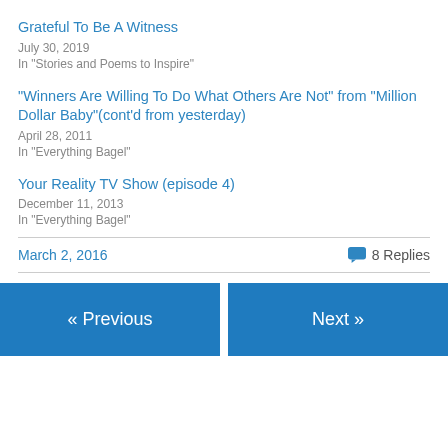Grateful To Be A Witness
July 30, 2019
In "Stories and Poems to Inspire"
“Winners Are Willing To Do What Others Are Not” from “Million Dollar Baby”(cont’d from yesterday)
April 28, 2011
In "Everything Bagel"
Your Reality TV Show (episode 4)
December 11, 2013
In "Everything Bagel"
March 2, 2016
8 Replies
« Previous
Next »